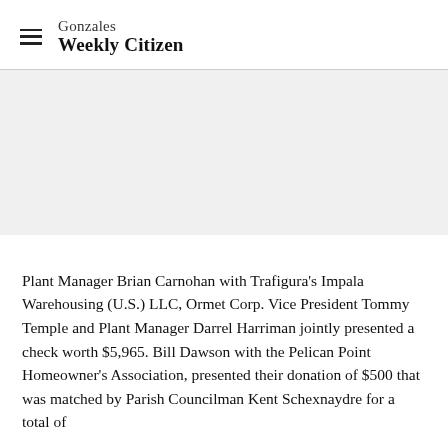Gonzales Weekly Citizen
[Figure (photo): Image area placeholder (photo of check presentation)]
Plant Manager Brian Carnohan with Trafigura's Impala Warehousing (U.S.) LLC, Ormet Corp. Vice President Tommy Temple and Plant Manager Darrel Harriman jointly presented a check worth $5,965. Bill Dawson with the Pelican Point Homeowner's Association, presented their donation of $500 that was matched by Parish Councilman Kent Schexnaydre for a total of